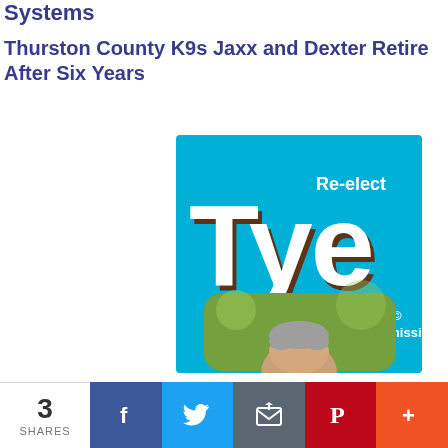Systems
Thurston County K9s Jaxx and Dexter Retire After Six Years
[Figure (illustration): Campaign advertisement for Re-elect Tye for Thurston County Commission. Light blue background with large white bold text 'Tye' with brown outline/shadow. Text reads 'Re-elect' above and 'for Thurston County Commission' below. Lower portion shows a rounded rectangular frame with a photo of a gray-haired man outdoors with green foliage background.]
3 SHARES